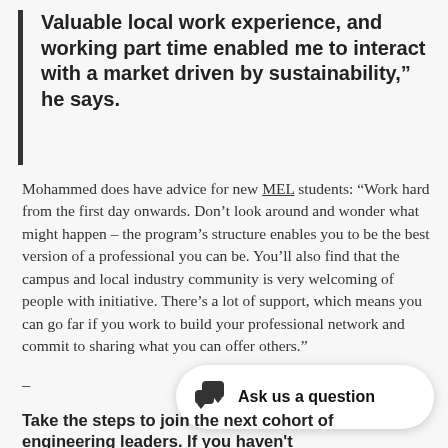Valuable local work experience, and working part time enabled me to interact with a market driven by sustainability," he says.
Mohammed does have advice for new MEL students: "Work hard from the first day onwards. Don't look around and wonder what might happen – the program's structure enables you to be the best version of a professional you can be. You'll also find that the campus and local industry community is very welcoming of people with initiative. There's a lot of support, which means you can go far if you work to build your professional network and commit to sharing what you can offer others."
–
[Figure (other): Ask us a question chat button with speech bubble icon]
Take the steps to join the next cohort of engineering leaders. If you haven't